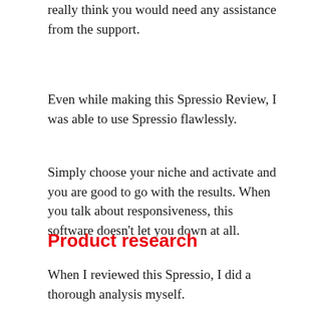really think you would need any assistance from the support.
Even while making this Spressio Review, I was able to use Spressio flawlessly.
Simply choose your niche and activate and you are good to go with the results. When you talk about responsiveness, this software doesn’t let you down at all.
Product research
When I reviewed this Spressio, I did a thorough analysis myself.